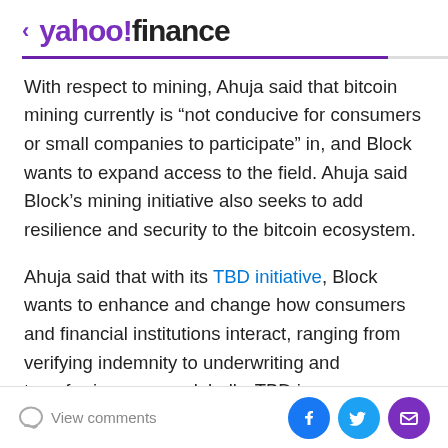< yahoo!finance
With respect to mining, Ahuja said that bitcoin mining currently is “not conducive for consumers or small companies to participate” in, and Block wants to expand access to the field. Ahuja said Block’s mining initiative also seeks to add resilience and security to the bitcoin ecosystem.
Ahuja said that with its TBD initiative, Block wants to enhance and change how consumers and financial institutions interact, ranging from verifying indemnity to underwriting and transferring money globally. TBD is a decentralized exchange that Block is building.
Prior Coyne is Cash App’s...
View comments